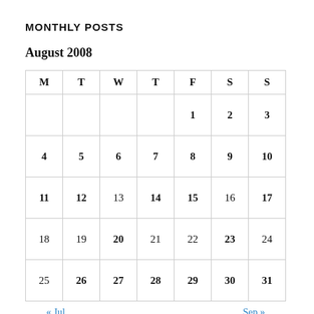MONTHLY POSTS
August 2008
| M | T | W | T | F | S | S |
| --- | --- | --- | --- | --- | --- | --- |
|  |  |  |  | 1 | 2 | 3 |
| 4 | 5 | 6 | 7 | 8 | 9 | 10 |
| 11 | 12 | 13 | 14 | 15 | 16 | 17 |
| 18 | 19 | 20 | 21 | 22 | 23 | 24 |
| 25 | 26 | 27 | 28 | 29 | 30 | 31 |
« Jul    Sep »